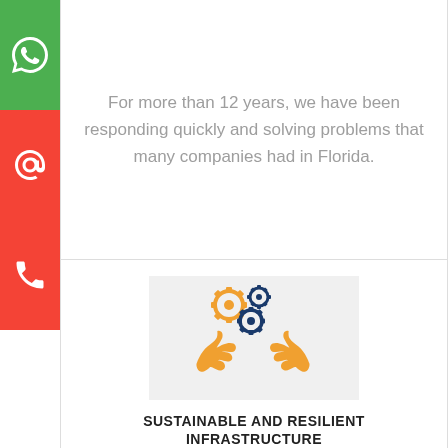[Figure (illustration): Left sidebar with three buttons: green WhatsApp icon button, red email/at-sign icon button, red phone icon button]
For more than 12 years, we have been responding quickly and solving problems that many companies had in Florida.
[Figure (illustration): Icon showing two cupped hands holding three gears (one large orange gear, one small dark blue gear, one medium dark blue gear) on a light gray background square]
SUSTAINABLE AND RESILIENT INFRASTRUCTURE